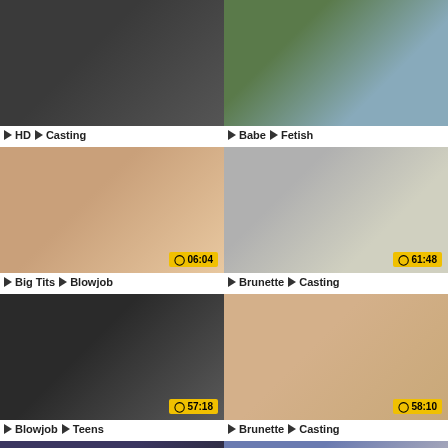[Figure (photo): Video thumbnail 1 - dark background, top row left]
HD  Casting
[Figure (photo): Video thumbnail 2 - outdoor scene, top row right]
Babe  Fetish
[Figure (photo): Video thumbnail 3 - 06:04 duration, middle row left]
Big Tits  Blowjob
[Figure (photo): Video thumbnail 4 - 61:48 duration, middle row right]
Brunette  Casting
[Figure (photo): Video thumbnail 5 - 57:18 duration, lower middle row left]
Blowjob  Teens
[Figure (photo): Video thumbnail 6 - 58:10 duration, lower middle row right]
Brunette  Casting
[Figure (photo): Video thumbnail 7 - 15:43 duration, bottom row left]
[Figure (photo): Video thumbnail 8 - 28:30 duration, bottom row right]